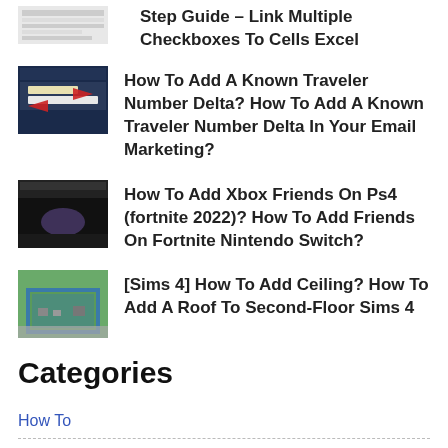[Figure (screenshot): Thumbnail of Excel spreadsheet with checkboxes]
Step Guide – Link Multiple Checkboxes To Cells Excel
[Figure (screenshot): Thumbnail of Delta airline website with red arrow annotations]
How To Add A Known Traveler Number Delta? How To Add A Known Traveler Number Delta In Your Email Marketing?
[Figure (screenshot): Thumbnail of Fortnite game screenshot]
How To Add Xbox Friends On Ps4 (fortnite 2022)? How To Add Friends On Fortnite Nintendo Switch?
[Figure (screenshot): Thumbnail of Sims 4 building with ceiling/roof]
[Sims 4] How To Add Ceiling? How To Add A Roof To Second-Floor Sims 4
Categories
How To
Uncategorized